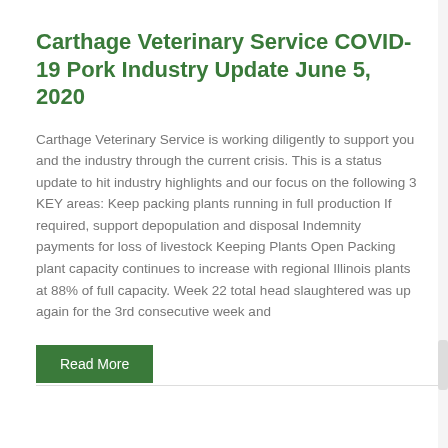Carthage Veterinary Service COVID-19 Pork Industry Update June 5, 2020
Carthage Veterinary Service is working diligently to support you and the industry through the current crisis. This is a status update to hit industry highlights and our focus on the following 3 KEY areas: Keep packing plants running in full production If required, support depopulation and disposal Indemnity payments for loss of livestock Keeping Plants Open Packing plant capacity continues to increase with regional Illinois plants at 88% of full capacity. Week 22 total head slaughtered was up again for the 3rd consecutive week and
Read More